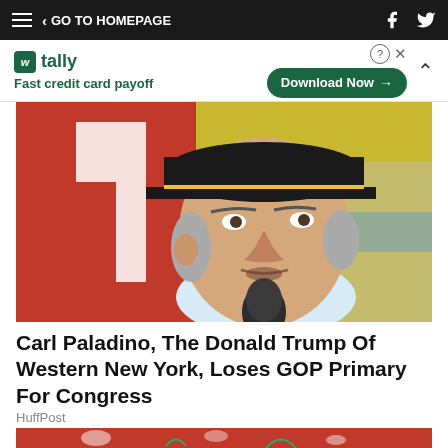GO TO HOMEPAGE
[Figure (infographic): Tally app advertisement banner: Fast credit card payoff, Download Now button]
[Figure (photo): Carl Paladino, an older man wearing a black baseball cap with yellow trim, speaking into a microphone, with a red flag visible in background and yellow background]
Carl Paladino, The Donald Trump Of Western New York, Loses GOP Primary For Congress
HuffPost
[Figure (photo): Partial view of what appears to be food with red berries and green herbs/rosemary]